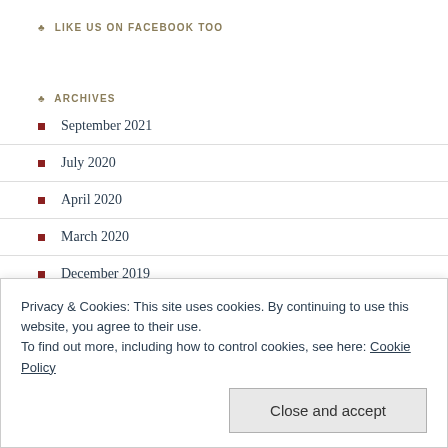♣ LIKE US ON FACEBOOK TOO
♣ ARCHIVES
September 2021
July 2020
April 2020
March 2020
December 2019
November 2019
October 2019
Privacy & Cookies: This site uses cookies. By continuing to use this website, you agree to their use.
To find out more, including how to control cookies, see here: Cookie Policy
Close and accept